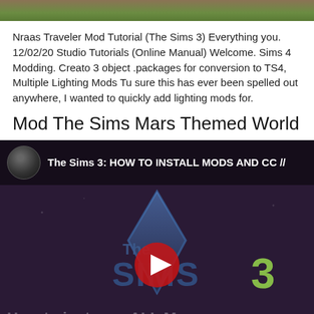[Figure (photo): Partial photo strip showing grass and brown surface at top of page]
Nraas Traveler Mod Tutorial (The Sims 3) Everything you. 12/02/20 Studio Tutorials (Online Manual) Welcome. Sims 4 Modding. Creato 3 object .packages for conversion to TS4, Multiple Lighting Mods Tu sure this has ever been spelled out anywhere, I wanted to quickly add lighting mods for.
Mod The Sims Mars Themed World
[Figure (screenshot): Embedded YouTube video thumbnail showing The Sims 3 logo with text 'The Sims 3: HOW TO INSTALL MODS AND CC //' and 'How to install Mods' at the bottom on a dark purple background, with a YouTube play button overlay]